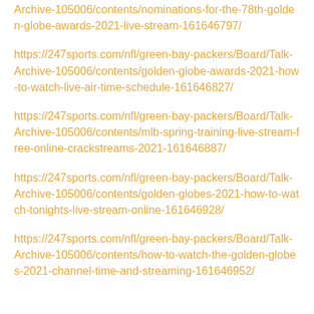Archive-105006/contents/nominations-for-the-78th-golden-globe-awards-2021-live-stream-161646797/
https://247sports.com/nfl/green-bay-packers/Board/Talk-Archive-105006/contents/golden-globe-awards-2021-how-to-watch-live-air-time-schedule-161646827/
https://247sports.com/nfl/green-bay-packers/Board/Talk-Archive-105006/contents/mlb-spring-training-live-stream-free-online-crackstreams-2021-161646887/
https://247sports.com/nfl/green-bay-packers/Board/Talk-Archive-105006/contents/golden-globes-2021-how-to-watch-tonights-live-stream-online-161646928/
https://247sports.com/nfl/green-bay-packers/Board/Talk-Archive-105006/contents/how-to-watch-the-golden-globes-2021-channel-time-and-streaming-161646952/